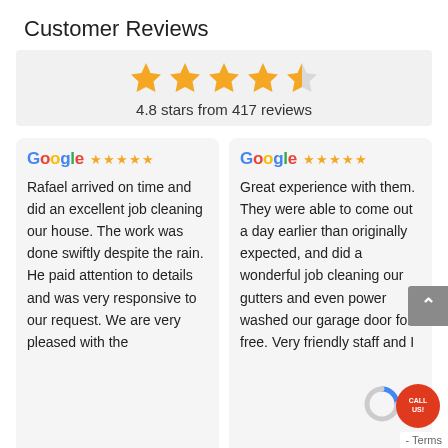Customer Reviews
[Figure (infographic): Rating summary box showing 4.8 stars from 417 reviews, with 4 full gold stars and 1 half gold/empty star]
4.8 stars from 417 reviews
Google ★★★★★ Rafael arrived on time and did an excellent job cleaning our house. The work was done swiftly despite the rain. He paid attention to details and was very responsive to our request. We are very pleased with the
Google ★★★★★ Great experience with them. They were able to come out a day earlier than originally expected, and did a wonderful job cleaning our gutters and even power washed our garage door for free. Very friendly staff and I